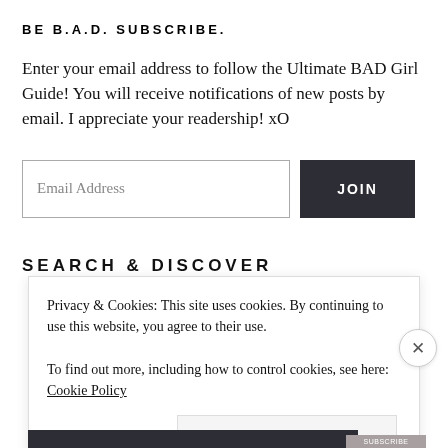BE B.A.D. SUBSCRIBE.
Enter your email address to follow the Ultimate BAD Girl Guide! You will receive notifications of new posts by email. I appreciate your readership! xO
SEARCH & DISCOVER
Privacy & Cookies: This site uses cookies. By continuing to use this website, you agree to their use.
To find out more, including how to control cookies, see here: Cookie Policy
Close and accept